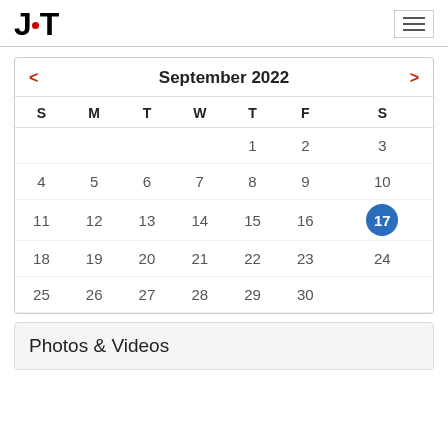JAT
[Figure (other): September 2022 calendar with dates 1-30, day 17 highlighted in blue circle]
Photos & Videos